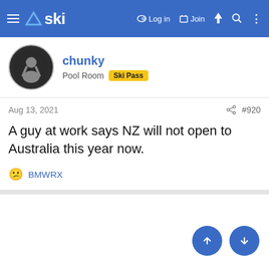ski — Log in   Join
chunky
Pool Room  Ski Pass
Aug 13, 2021
#920
A guy at work says NZ will not open to Australia this year now.
😕 BMWRX